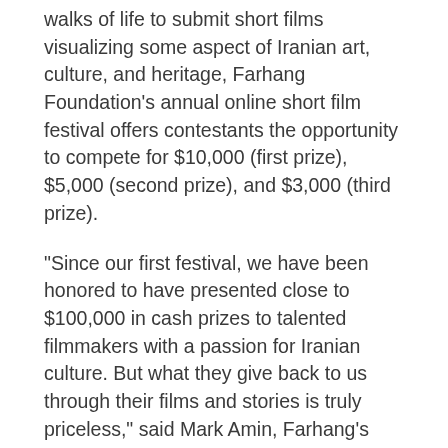walks of life to submit short films visualizing some aspect of Iranian art, culture, and heritage, Farhang Foundation's annual online short film festival offers contestants the opportunity to compete for $10,000 (first prize), $5,000 (second prize), and $3,000 (third prize).
“Since our first festival, we have been honored to have presented close to $100,000 in cash prizes to talented filmmakers with a passion for Iranian culture. But what they give back to us through their films and stories is truly priceless,” said Mark Amin, Farhang’s Film Festival committee Chair, and Vice Chairman of the Board of Trustees. “We are thrilled to be hosting this festival for the seventh year in a row and look forward to the many wonderful submissions we will soon be receiving.”